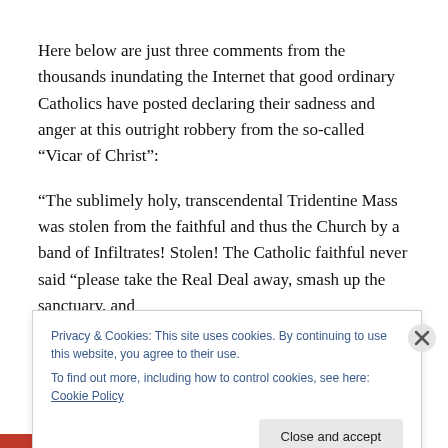Here below are just three comments from the thousands inundating the Internet that good ordinary Catholics have posted declaring their sadness and anger at this outright robbery from the so-called “Vicar of Christ”:
“The sublimely holy, transcendental Tridentine Mass was stolen from the faithful and thus the Church by a band of Infiltrates! Stolen! The Catholic faithful never said “please take the Real Deal away, smash up the sanctuary, and
Privacy & Cookies: This site uses cookies. By continuing to use this website, you agree to their use.
To find out more, including how to control cookies, see here: Cookie Policy
Close and accept